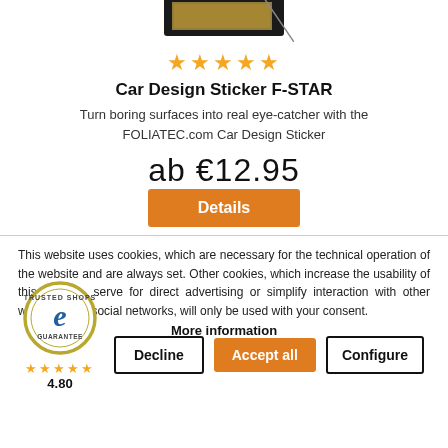[Figure (illustration): Partial product image at the top (car sticker package, cropped)]
★★★★★
Car Design Sticker F-STAR
Turn boring surfaces into real eye-catcher with the FOLIATEC.com Car Design Sticker
ab €12.95
Details
This website uses cookies, which are necessary for the technical operation of the website and are always set. Other cookies, which increase the usability of this website, serve for direct advertising or simplify interaction with other websites and social networks, will only be used with your consent.
More information
[Figure (logo): Trusted Shops Guarantee badge with e logo, gold border circle]
★★★★★ 4.80
Decline
Accept all
Configure